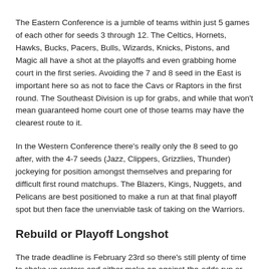The Eastern Conference is a jumble of teams within just 5 games of each other for seeds 3 through 12. The Celtics, Hornets, Hawks, Bucks, Pacers, Bulls, Wizards, Knicks, Pistons, and Magic all have a shot at the playoffs and even grabbing home court in the first series. Avoiding the 7 and 8 seed in the East is important here so as not to face the Cavs or Raptors in the first round. The Southeast Division is up for grabs, and while that won't mean guaranteed home court one of those teams may have the clearest route to it.
In the Western Conference there's really only the 8 seed to go after, with the 4-7 seeds (Jazz, Clippers, Grizzlies, Thunder) jockeying for position amongst themselves and preparing for difficult first round matchups. The Blazers, Kings, Nuggets, and Pelicans are best positioned to make a run at that final playoff spot but then face the unenviable task of taking on the Warriors.
Rebuild or Playoff Longshot
The trade deadline is February 23rd so there's still plenty of time to shake up rosters and either make an against-the-odds run or rebuild the team for future seasons. The Suns, Mavericks, Timberwolves, Lakers, Nets, 76ers, and Heat are the teams that fall into this category.